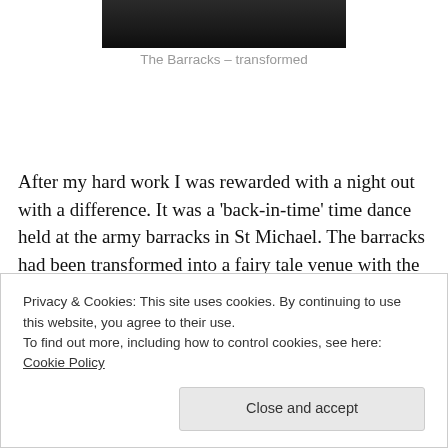[Figure (photo): Dark image of The Barracks transformed, showing figures at a night event]
The Barracks – transformed
After my hard work I was rewarded with a night out with a difference. It was a 'back-in-time' time dance held at the army barracks in St Michael. The barracks had been transformed into a fairy tale venue with the use of strategic lighting, tents and gazebos.
Privacy & Cookies: This site uses cookies. By continuing to use this website, you agree to their use.
To find out more, including how to control cookies, see here: Cookie Policy